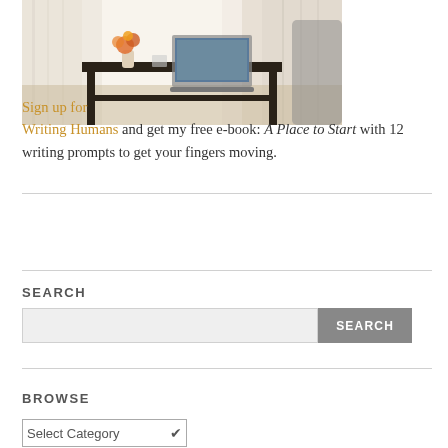[Figure (photo): A bright home office or desk scene with a dark wooden desk, a laptop computer open on it, a vase of orange/pink flowers, and sheer white curtains in the background.]
Sign up for Writing Humans and get my free e-book: A Place to Start with 12 writing prompts to get your fingers moving.
SEARCH
BROWSE
Select Category